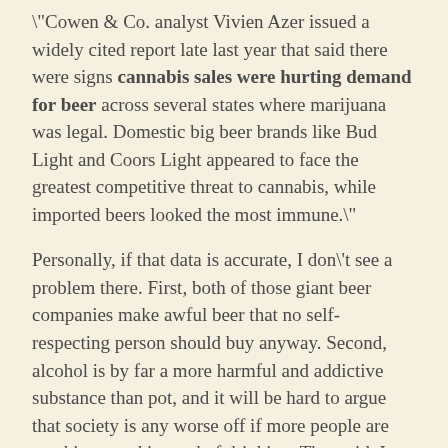\"Cowen & Co. analyst Vivien Azer issued a widely cited report late last year that said there were signs cannabis sales were hurting demand for beer across several states where marijuana was legal. Domestic big beer brands like Bud Light and Coors Light appeared to face the greatest competitive threat to cannabis, while imported beers looked the most immune.\"
Personally, if that data is accurate, I don't see a problem there. First, both of those giant beer companies make awful beer that no self-respecting person should buy anyway. Second, alcohol is by far a more harmful and addictive substance than pot, and it will be hard to argue that society is any worse off if more people are smoking weed instead of drinking. That said, I don't think the major beer industries need to worry about their profits – worrying that people aren't going to buy Coors Light is like worrying they won't buy Coca Cola. Even if fewer